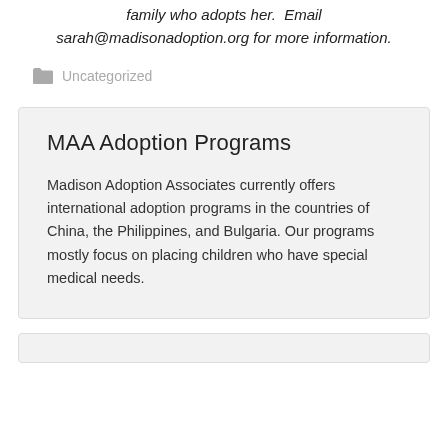there is a $2,000 grant available for the family who adopts her. Email sarah@madisonadoption.org for more information.
Uncategorized
MAA Adoption Programs
Madison Adoption Associates currently offers international adoption programs in the countries of China, the Philippines, and Bulgaria. Our programs mostly focus on placing children who have special medical needs.